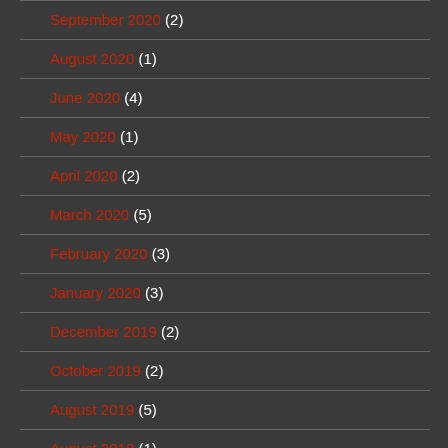September 2020 (2)
August 2020 (1)
June 2020 (4)
May 2020 (1)
April 2020 (2)
March 2020 (5)
February 2020 (3)
January 2020 (3)
December 2019 (2)
October 2019 (2)
August 2019 (5)
August 2018 (1)
July 2018 (4)